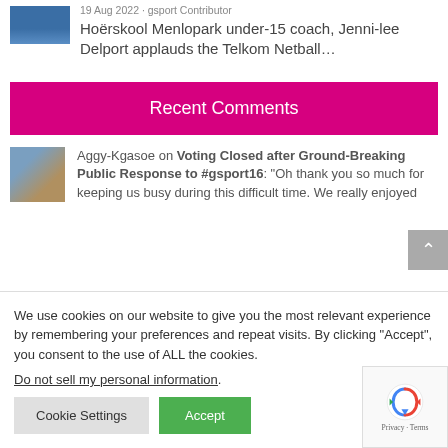[Figure (photo): Small thumbnail image of a sports scene with blue background]
19 Aug 2022 · gsport Contributor
Hoërskool Menlopark under-15 coach, Jenni-lee Delport applauds the Telkom Netball…
Recent Comments
[Figure (photo): Avatar/profile photo of commenter Aggy-Kgasoe]
Aggy-Kgasoe on Voting Closed after Ground-Breaking Public Response to #gsport16: "Oh thank you so much for keeping us busy during this difficult time. We really enjoyed
We use cookies on our website to give you the most relevant experience by remembering your preferences and repeat visits. By clicking "Accept", you consent to the use of ALL the cookies.
Do not sell my personal information.